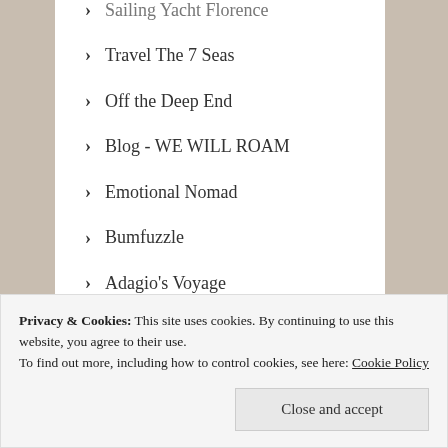Sailing Yacht Florence
Travel The 7 Seas
Off the Deep End
Blog - WE WILL ROAM
Emotional Nomad
Bumfuzzle
Adagio's Voyage
A Family Afloat
Salty Señorita
Sailing Itchy Foot
Privacy & Cookies: This site uses cookies. By continuing to use this website, you agree to their use.
To find out more, including how to control cookies, see here: Cookie Policy
Close and accept